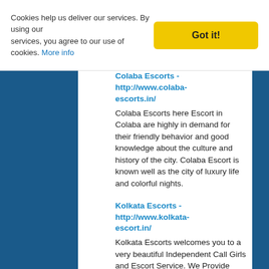Cookies help us deliver our services. By using our services, you agree to our use of cookies. More info
Got it!
Colaba Escorts - http://www.colaba-escorts.in/
Colaba Escorts here Escort in Colaba are highly in demand for their friendly behavior and good knowledge about the culture and history of the city. Colaba Escort is known well as the city of luxury life and colorful nights.
Kolkata Escorts - http://www.kolkata-escort.in/
Kolkata Escorts welcomes you to a very beautiful Independent Call Girls and Escort Service. We Provide Female Sexy escorts in Kolkata working 24/7.
Kolkata Escort...